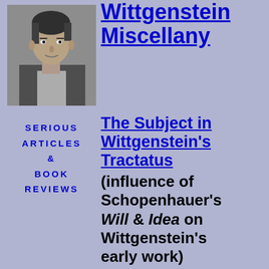[Figure (photo): Black and white portrait photograph of Ludwig Wittgenstein, showing his face and upper body in a thoughtful pose]
Wittgenstein Miscellany
SERIOUS ARTICLES & BOOK REVIEWS
The Subject in Wittgenstein's Tractatus (influence of Schopenhauer's Will & Idea on Wittgenstein's early work)